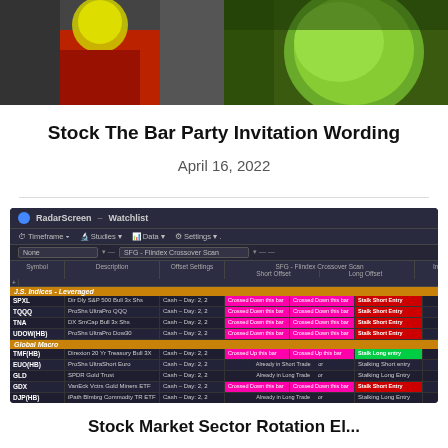[Figure (photo): Two side-by-side photos: left shows a person holding something yellow-green near a red surface, right shows a green/lime colored round fruit or vegetable]
Stock The Bar Party Invitation Wording
April 16, 2022
[Figure (screenshot): RadarScreen Watchlist screenshot showing stock market scanner with symbols including SPXL, TQQQ, TNA, UDOW(HB), TMF(HB), EUO(HB), GLD, GDX, DJP(HB), REMX(HB) with various trade signals including Crossed Down, Crossed Up, Already in Long/Short Trade entries with colored implication labels]
Stock Market Sector Rotation El...